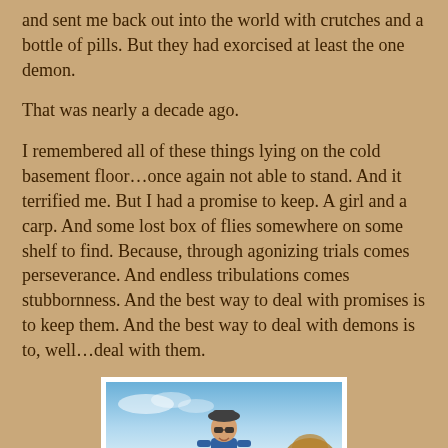and sent me back out into the world with crutches and a bottle of pills. But they had exorcised at least the one demon.
That was nearly a decade ago.
I remembered all of these things lying on the cold basement floor…once again not able to stand. And it terrified me. But I had a promise to keep. A girl and a carp. And some lost box of flies somewhere on some shelf to find. Because, through agonizing trials comes perseverance. And endless tribulations comes stubbornness. And the best way to deal with promises is to keep them. And the best way to deal with demons is to, well…deal with them.
[Figure (photo): A person wearing a dark hat, sunglasses, and a blue vest, smiling outdoors under a blue sky with dry shrubs/vegetation in the background.]